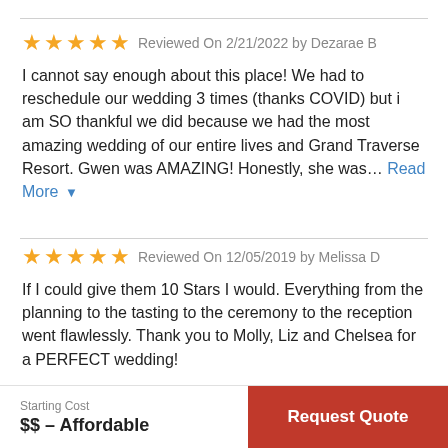★★★★★ Reviewed On 2/21/2022 by Dezarae B
I cannot say enough about this place! We had to reschedule our wedding 3 times (thanks COVID) but i am SO thankful we did because we had the most amazing wedding of our entire lives and Grand Traverse Resort. Gwen was AMAZING! Honestly, she was... Read More
★★★★★ Reviewed On 12/05/2019 by Melissa D
If I could give them 10 Stars I would. Everything from the planning to the tasting to the ceremony to the reception went flawlessly. Thank you to Molly, Liz and Chelsea for a PERFECT wedding!
Starting Cost
$$ – Affordable
Request Quote